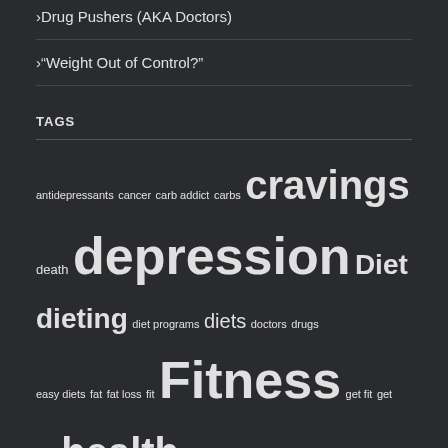Drug Pushers (AKA Doctors)
“Weight Out of Control?”
TAGS
antidepressants cancer carb addict carbs cravings death depression Diet dieting diet programs diets doctors drugs easy diets fat fat loss fit Fitness get fit get lean health healthy healthy dieting heart health insomnia lean body lies lose weight lose weight fast low-carb low-fat misdiagnose mood swings obesity quick weight loss serotonin SSRIs sugar suicidal behavior suicide truth weight loss weight loss program wellness women